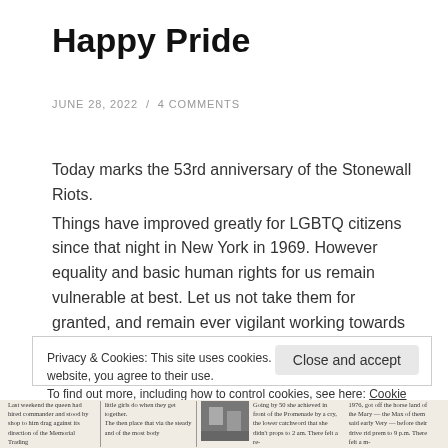Happy Pride
JUNE 28, 2022 / 4 COMMENTS
Today marks the 53rd anniversary of the Stonewall Riots.
Things have improved greatly for LGBTQ citizens since that night in New York in 1969. However equality and basic human rights for us remain vulnerable at best. Let us not take them for granted, and remain ever vigilant working towards equality and justice for all.
Privacy & Cookies: This site uses cookies. By continuing to use this website, you agree to their use.
To find out more, including how to control cookies, see here: Cookie Policy
[Figure (photo): Newspaper clipping strip at the bottom of the page showing old newspaper text columns and a small black and white photograph]